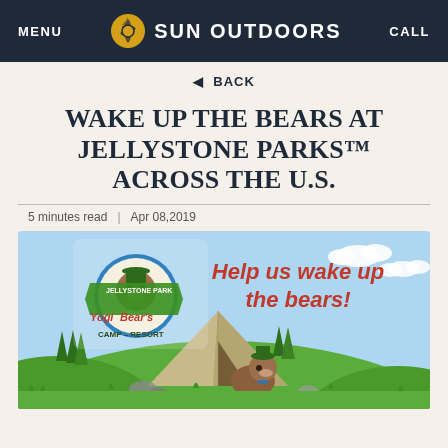MENU  SUN OUTDOORS  CALL
◀ BACK
WAKE UP THE BEARS AT JELLYSTONE PARKS™ ACROSS THE U.S.
5 minutes read  |  Apr 08,2019
[Figure (illustration): Yogi Bear's Jellystone Park Camp-Resort promotional illustration showing Yogi Bear logo on the left, Yogi Bear sleeping under a tent on a grassy hill, and text 'Help us wake up the bears!' in red on the right with a light blue sky background.]